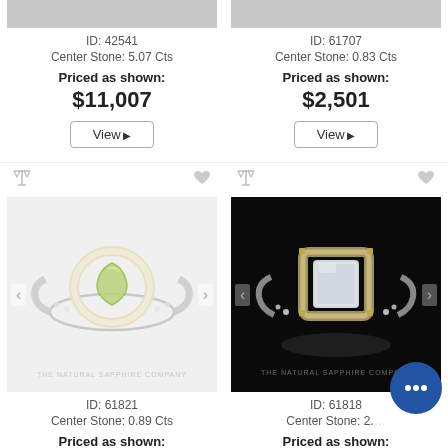[Figure (photo): Partial top of a ring product image (cropped)]
ID: 42541
Center Stone: 5.07 Cts
Priced as shown:
$11,007
View ▶
[Figure (photo): Partial top of a ring product image (cropped)]
ID: 61707
Center Stone: 0.83 Cts
Priced as shown:
$2,501
View ▶
[Figure (photo): Green/yellow pear-shaped sapphire halo ring on white background, watermark: THE NATURAL SAPPHIRE COMPANY]
ID: 61821
Center Stone: 0.89 Cts
Priced as shown:
[Figure (photo): White/clear emerald-cut sapphire halo ring on black background, watermark: THE NATURAL SAPPHIRE COMPANY]
ID: 61818
Center Stone: 2.5 Cts (partially obscured)
Priced as shown: